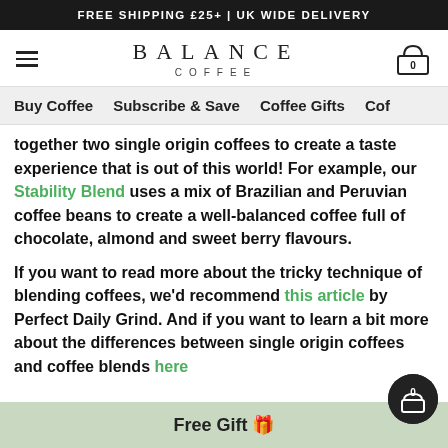FREE SHIPPING £25+ | UK WIDE DELIVERY
[Figure (logo): Balance Coffee logo with hamburger menu icon on left and cart icon on right]
Buy Coffee   Subscribe & Save   Coffee Gifts   Cof
together two single origin coffees to create a taste experience that is out of this world! For example, our Stability Blend uses a mix of Brazilian and Peruvian coffee beans to create a well-balanced coffee full of chocolate, almond and sweet berry flavours.
If you want to read more about the tricky technique of blending coffees, we'd recommend this article by Perfect Daily Grind. And if you want to learn a bit more about the differences between single origin coffees and coffee blends here
Free Gift 🎁